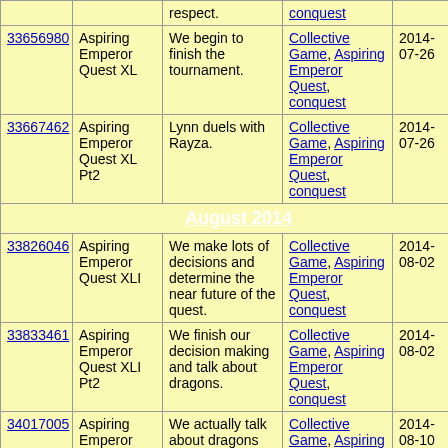| ID | Name | Description | Tags | Date | # |
| --- | --- | --- | --- | --- | --- |
| 33656980 | Aspiring Emperor Quest XL | We begin to finish the tournament. | Collective Game, Aspiring Emperor Quest, conquest | 2014-07-26 | 26 |
| 33667462 | Aspiring Emperor Quest XL Pt2 | Lynn duels with Rayza. | Collective Game, Aspiring Emperor Quest, conquest | 2014-07-26 | 28 |
| HEADER: August 2014 |
| 33826046 | Aspiring Emperor Quest XLI | We make lots of decisions and determine the near future of the quest. | Collective Game, Aspiring Emperor Quest, conquest | 2014-08-02 | 28 |
| 33833461 | Aspiring Emperor Quest XLI Pt2 | We finish our decision making and talk about dragons. | Collective Game, Aspiring Emperor Quest, conquest | 2014-08-02 | 28 |
| 34017005 | Aspiring Emperor Quest XLII | We actually talk about dragons before socialising. The QM is also hungover - yay for being... | Collective Game, Aspiring Emperor Quest, conquest | 2014-08-10 | 26 |